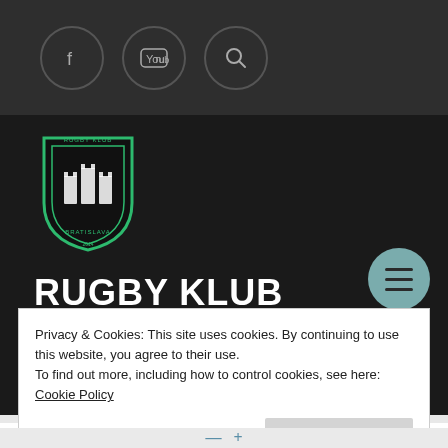[Figure (screenshot): Top navigation bar with Facebook, YouTube, and Search icon buttons in circles on a dark grey background]
[Figure (logo): Rugby Klub Bratislava shield logo in green and dark colors]
RUGBY KLUB BRATISLAVA
Slovensko
Privacy & Cookies: This site uses cookies. By continuing to use this website, you agree to their use.
To find out more, including how to control cookies, see here: Cookie Policy
Close and accept